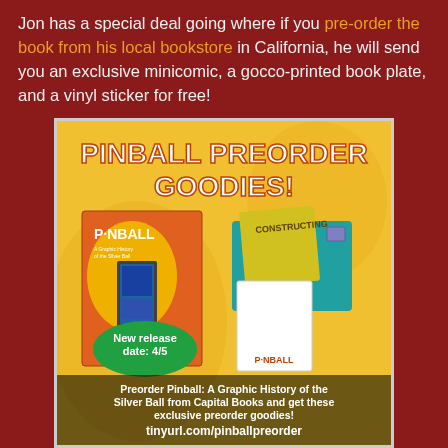Jon has a special deal going where if you pre-order the book from his local bookstore in California, he will send you an exclusive minicomic, a gocco-printed book plate, and a vinyl sticker for free!
[Figure (illustration): Pinball Preorder Goodies promotional image showing the book 'Pinball: A Graphic History of the Silver Ball', a minicomic, book plate, and sticker. Text reads: PINBALL PREORDER GOODIES! New release date: 4/5. Preorder Pinball: A Graphic History of the Silver Ball from Capital Books and get these exclusive preorder goodies! tinyurl.com/pinballpreorder]
Since Jon and I started our pinball journey together, we thought it would be fun to chat about the creation of his new book, and what we have been up to since we published the